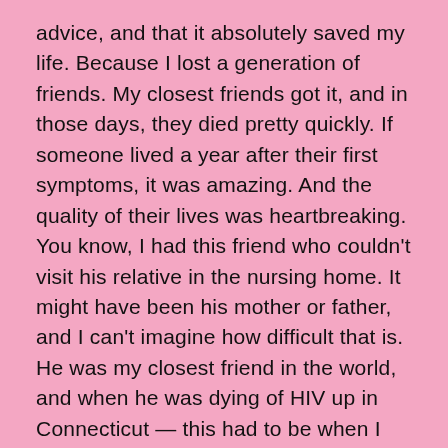advice, and that it absolutely saved my life. Because I lost a generation of friends. My closest friends got it, and in those days, they died pretty quickly. If someone lived a year after their first symptoms, it was amazing. And the quality of their lives was heartbreaking. You know, I had this friend who couldn't visit his relative in the nursing home. It might have been his mother or father, and I can't imagine how difficult that is. He was my closest friend in the world, and when he was dying of HIV up in Connecticut — this had to be when I was still at CBS, so in the early nineties — and in the last few week of his life, I used to drive up there all the time and see him. And the day before he died, the hospices in his apartment said he was really out of it, and the nurse said he's not going to know whether you're in there or not.